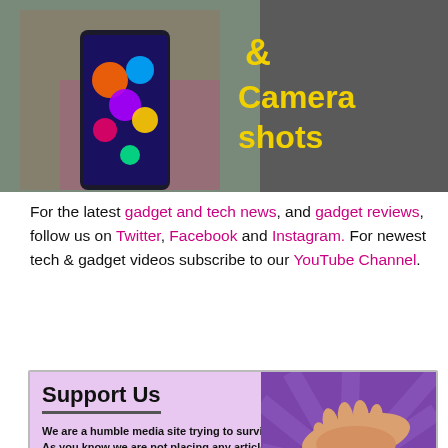[Figure (photo): Person holding a smartphone with colorful screen, with yellow text '& Camera shots' on dark background overlay at right side]
For the latest gadget and tech news, and gadget reviews, follow us on Twitter, Facebook and Instagram. For newest tech & gadget videos subscribe to our YouTube Channel.
[Figure (infographic): Support Us box with light purple background. Left side has bold title 'Support Us' with underline, followed by bold text 'We are a humble media site trying to survitve! As you know we are not placing any article, even the feature stories behind any paywall or subscription model. Help us stay afloat, support with whatever you can!'. Right side shows an illustration of two hands exchanging a red heart on a purple background with rays.]